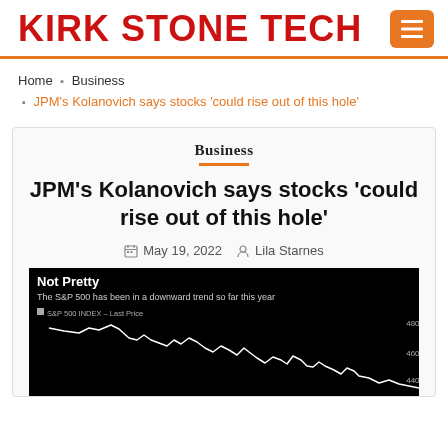KIRK STONE TECH
Home › Business › JPM's Kolanovich says stocks 'could rise out of this hole'
Business
JPM's Kolanovich says stocks 'could rise out of this hole'
May 19, 2022   Lila Starnes
[Figure (continuous-plot): Line chart titled 'Not Pretty' showing S&P 500 INDEX Last Price in a downward trend year-to-date, with y-axis labels 4800, 4600, 4400, on a black background.]